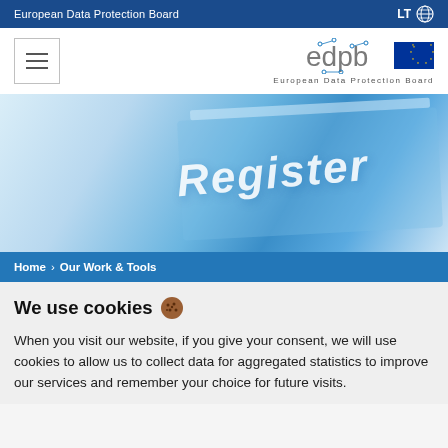European Data Protection Board | LT
[Figure (logo): EDPB logo with hamburger menu icon, edpb text and EU flag, subtitle European Data Protection Board]
[Figure (photo): Hero image showing a blue-toned digital register interface with the word Register in large white italic text]
Home > Our Work & Tools
We use cookies 🍪
When you visit our website, if you give your consent, we will use cookies to allow us to collect data for aggregated statistics to improve our services and remember your choice for future visits.